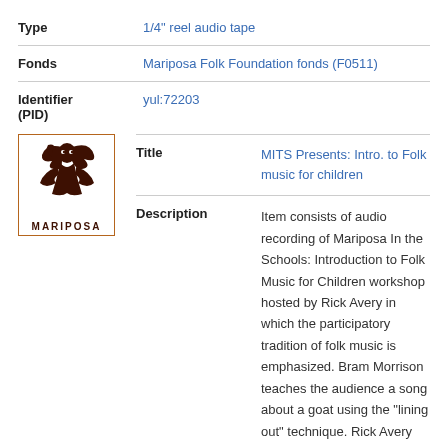| Field | Value |
| --- | --- |
| Type | 1/4" reel audio tape |
| Fonds | Mariposa Folk Foundation fonds (F0511) |
| Identifier (PID) | yul:72203 |
[Figure (logo): Mariposa Folk Foundation logo — brown illustration of a woman figure with flowing hair, text MARIPOSA below]
| Field | Value |
| --- | --- |
| Title | MITS Presents: Intro. to Folk music for children |
| Description | Item consists of audio recording of Mariposa In the Schools: Introduction to Folk Music for Children workshop hosted by Rick Avery in which the participatory tradition of folk music is emphasized. Bram Morrison teaches the audience a song about a goat using the "lining out" technique. Rick Avery discusses innovative approaches to makeshift instrumentation and explains "chock... |